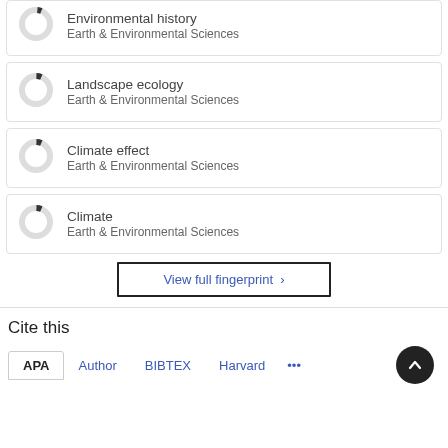Environmental history
Earth & Environmental Sciences
Landscape ecology
Earth & Environmental Sciences
Climate effect
Earth & Environmental Sciences
Climate
Earth & Environmental Sciences
View full fingerprint ›
Cite this
APA  Author  BIBTEX  Harvard  ...